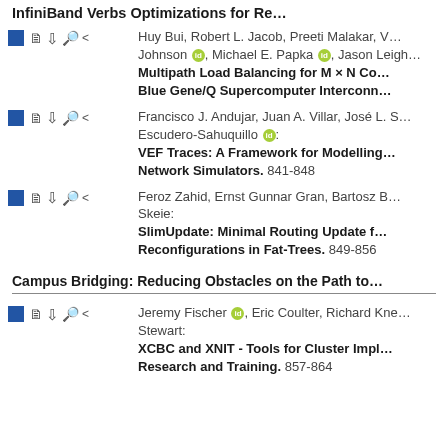InfiniBand Verbs Optimizations for Re…
Huy Bui, Robert L. Jacob, Preeti Malakar, V… Johnson, Michael E. Papka, Jason Leigh… Multipath Load Balancing for M × N Co… Blue Gene/Q Supercomputer Interconn…
Francisco J. Andujar, Juan A. Villar, José L. S… Escudero-Sahuquillo: VEF Traces: A Framework for Modelling… Network Simulators. 841-848
Feroz Zahid, Ernst Gunnar Gran, Bartosz B… Skeie: SlimUpdate: Minimal Routing Update f… Reconfigurations in Fat-Trees. 849-856
Campus Bridging: Reducing Obstacles on the Path to…
Jeremy Fischer, Eric Coulter, Richard Kne… Stewart: XCBC and XNIT - Tools for Cluster Impl… Research and Training. 857-864